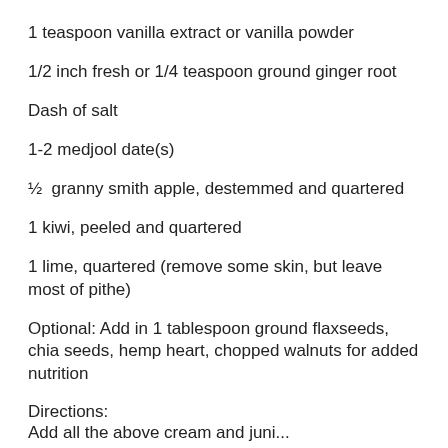1 teaspoon vanilla extract or vanilla powder
1/2 inch fresh or 1/4 teaspoon ground ginger root
Dash of salt
1-2 medjool date(s)
½  granny smith apple, destemmed and quartered
1 kiwi, peeled and quartered
1 lime, quartered (remove some skin, but leave most of pithe)
Optional: Add in 1 tablespoon ground flaxseeds, chia seeds, hemp heart, chopped walnuts for added nutrition
Directions:
Add all the above...